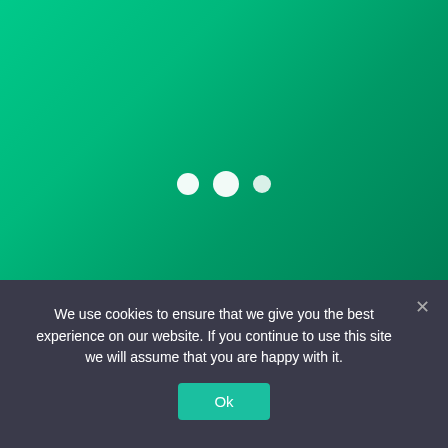[Figure (screenshot): Green gradient background with three white loading dots centered: a medium dot, a large dot, and a small dot arranged horizontally]
We use cookies to ensure that we give you the best experience on our website. If you continue to use this site we will assume that you are happy with it.
Ok